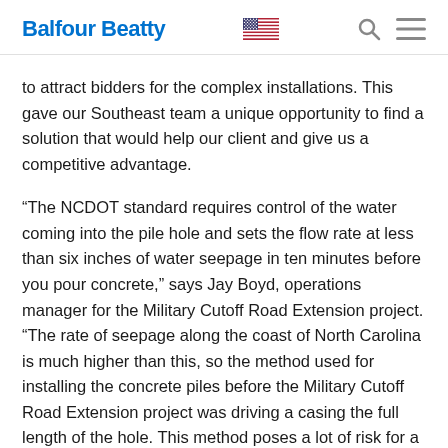Balfour Beatty
to attract bidders for the complex installations. This gave our Southeast team a unique opportunity to find a solution that would help our client and give us a competitive advantage.
“The NCDOT standard requires control of the water coming into the pile hole and sets the flow rate at less than six inches of water seepage in ten minutes before you pour concrete,” says Jay Boyd, operations manager for the Military Cutoff Road Extension project. “The rate of seepage along the coast of North Carolina is much higher than this, so the method used for installing the concrete piles before the Military Cutoff Road Extension project was driving a casing the full length of the hole. This method poses a lot of risk for a contractor.”
The temporary steel casing method involves multiple steps and requires